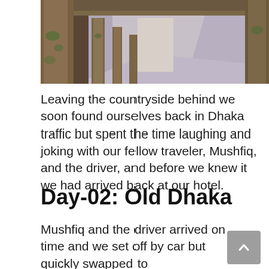[Figure (photo): A corridor or hallway with large weathered stone or concrete pillars covered in moss/lichen, with a purple-gray floor stretching into the distance. Outdoor architectural ruins or heritage site.]
Leaving the countryside behind we soon found ourselves back in Dhaka traffic but spent the time laughing and joking with our fellow traveler, Mushfiq, and the driver, and before we knew it we had arrived back at our hotel.
Day-02: Old Dhaka
Mushfiq and the driver arrived on time and we set off by car but quickly swapped to